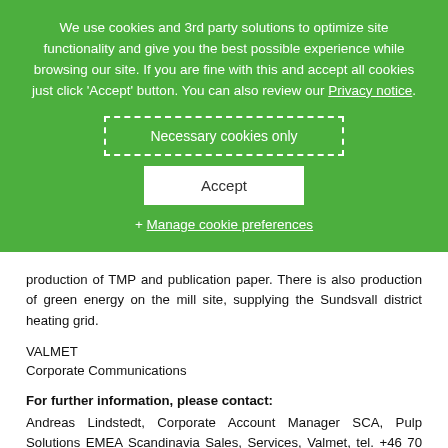We use cookies and 3rd party solutions to optimize site functionality and give you the best possible experience while browsing our site. If you are fine with this and accept all cookies just click 'Accept' button. You can also review our Privacy notice.
Necessary cookies only
Accept
+ Manage cookie preferences
production of TMP and publication paper. There is also production of green energy on the mill site, supplying the Sundsvall district heating grid.
VALMET
Corporate Communications
For further information, please contact: Andreas Lindstedt, Corporate Account Manager SCA, Pulp Solutions EMEA Scandinavia Sales, Services, Valmet, tel. +46 70 576 5498
Anders Jangmalm, Sales Manager, Automation business line